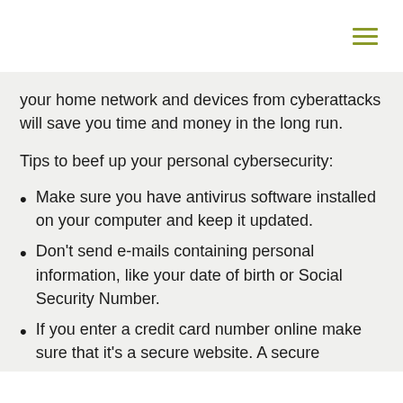≡
your home network and devices from cyberattacks will save you time and money in the long run.
Tips to beef up your personal cybersecurity:
Make sure you have antivirus software installed on your computer and keep it updated.
Don't send e-mails containing personal information, like your date of birth or Social Security Number.
If you enter a credit card number online make sure that it's a secure website. A secure